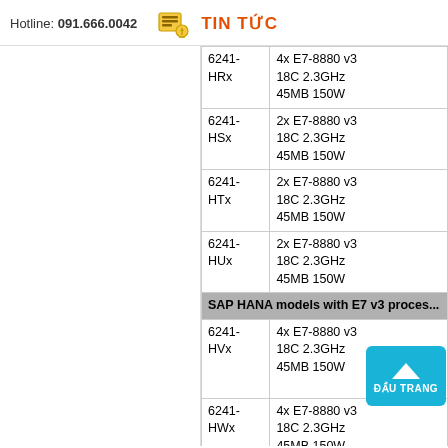Hotline: 091.666.0042   TIN TỨC
| Model | Processor |
| --- | --- |
| 6241-HRx | 4x E7-8880 v3
18C 2.3GHz
45MB 150W |
| 6241-HSx | 2x E7-8880 v3
18C 2.3GHz
45MB 150W |
| 6241-HTx | 2x E7-8880 v3
18C 2.3GHz
45MB 150W |
| 6241-HUx | 2x E7-8880 v3
18C 2.3GHz
45MB 150W |
| SAP HANA models with E7 v3 processors |  |
| 6241-HVx | 4x E7-8880 v3
18C 2.3GHz
45MB 150W |
| 6241-HWx | 4x E7-8880 v3
18C 2.3GHz
45MB 150W |
| 6241-HXx | 2x E7-8880 v3
18C 2.3GHz
45MB 150W |
| 6241-HYx | 2x E7-8880 v3
18C 2.3GHz
45MB 150W |
| 6241-HZx | 2x E7-8880 v3
18C 2.3GHz
... |